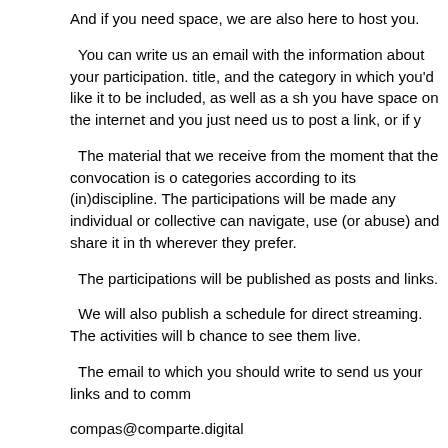And if you need space, we are also here to host you.
You can write us an email with the information about your participation, title, and the category in which you'd like it to be included, as well as a sh you have space on the internet and you just need us to post a link, or if y
The material that we receive from the moment that the convocation is o categories according to its (in)discipline. The participations will be made any individual or collective can navigate, use (or abuse) and share it in th wherever they prefer.
The participations will be published as posts and links.
We will also publish a schedule for direct streaming. The activities will b chance to see them live.
The email to which you should write to send us your links and to comm
compas@comparte.digital
The page on which the links to the participations will be uploaded, and w August 1 of this year, 2017, is:
http://comparte.digital